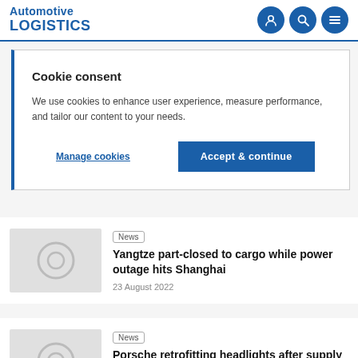Automotive LOGISTICS
Cookie consent
We use cookies to enhance user experience, measure performance, and tailor our content to your needs.
Manage cookies
Accept & continue
News
Yangtze part-closed to cargo while power outage hits Shanghai
23 August 2022
News
Porsche retrofitting headlights after supply